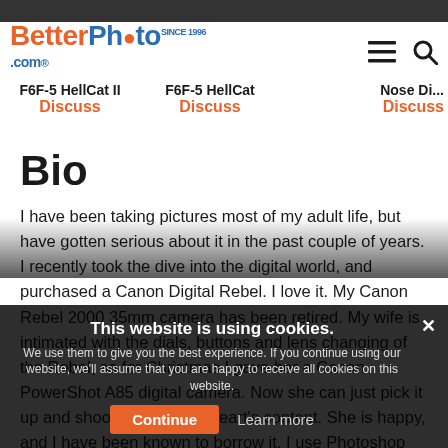BetterPhoto.com
F6F-5 HellCat II
Discuss
F6F-5 HellCat
Discuss
Nose Di...
Discuss
Bio
I have been taking pictures most of my adult life, but have gotten serious about it in the past couple of years. I recently took the dive into the digital world, and purchased a Canon Digital Rebel. I love it. My Canon Rebel 2000 35mm camera has been retired. My wife is intimated with the dials, buttons and lens changing of the Rebel, so for Christmas I gave her a Canon PowerShot A85 digital camera. Now she can just pick it up and shoot away to her heart's content. She is happy, and I have been known to borrow it. I use Photoshop and make minor corrections. I don't like to modify the photo too much away from the original, but I have found
This website is using cookies.
We use them to give you the best experience. If you continue using our website, we'll assume that you are happy to receive all cookies on this website.
Continue    Learn more